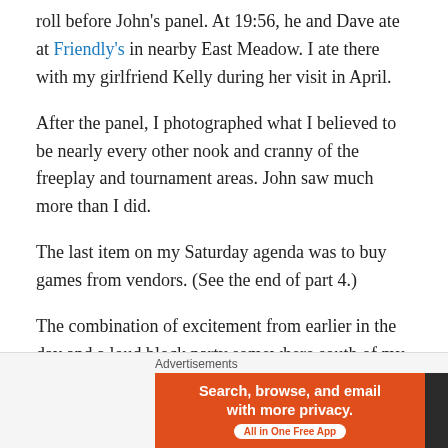roll before John's panel. At 19:56, he and Dave ate at Friendly's in nearby East Meadow. I ate there with my girlfriend Kelly during her visit in April.
After the panel, I photographed what I believed to be nearly every other nook and cranny of the freeplay and tournament areas. John saw much more than I did.
The last item on my Saturday agenda was to buy games from vendors. (See the end of part 4.)
The combination of excitement from earlier in the day and a loud block party somewhere south of my house kept me from relaxing and easing into sleep. I probably slept two to four hours, at best.
[Figure (infographic): DuckDuckGo advertisement banner: orange left section with text 'Search, browse, and email with more privacy. All in One Free App' and dark right section with DuckDuckGo logo and brand name. Labeled 'Advertisements' above.]